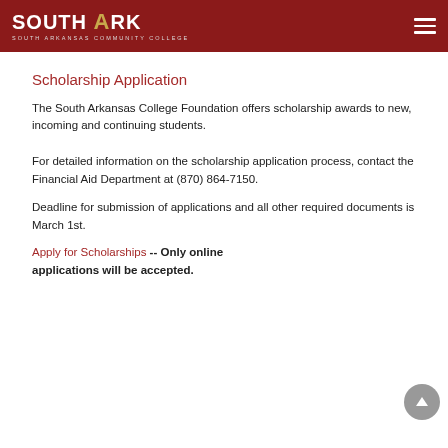SOUTH ARK — SOUTH ARKANSAS COMMUNITY COLLEGE
Scholarship Application
The South Arkansas College Foundation offers scholarship awards to new, incoming and continuing students.
For detailed information on the scholarship application process, contact the Financial Aid Department at (870) 864-7150.
Deadline for submission of applications and all other required documents is March 1st.
Apply for Scholarships -- Only online applications will be accepted.